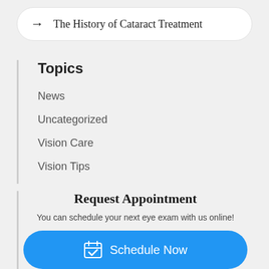→  The History of Cataract Treatment
Topics
News
Uncategorized
Vision Care
Vision Tips
Request Appointment
You can schedule your next eye exam with us online!
Schedule Now
(513) 683-8900